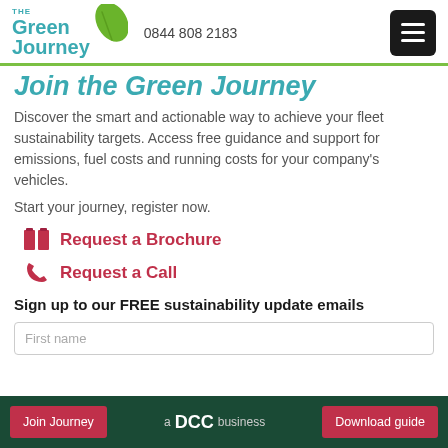The Green Journey — 0844 808 2183
Join the Green Journey
Discover the smart and actionable way to achieve your fleet sustainability targets. Access free guidance and support for emissions, fuel costs and running costs for your company's vehicles.
Start your journey, register now.
Request a Brochure
Request a Call
Sign up to our FREE sustainability update emails
First name
Join Journey — a DCC business — Download guide